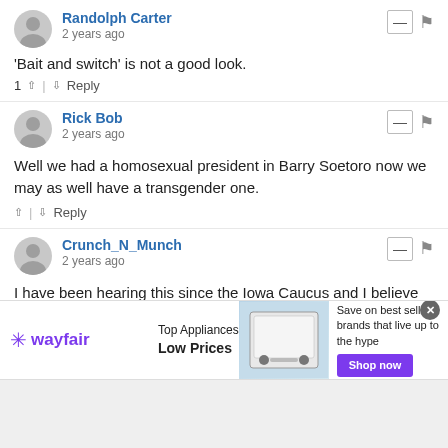Randolph Carter
2 years ago
'Bait and switch' is not a good look.
1 ↑ | ↓ Reply
Rick Bob
2 years ago
Well we had a homosexual president in Barry Soetoro now we may as well have a transgender one.
↑ | ↓ Reply
Crunch_N_Munch
2 years ago
I have been hearing this since the Iowa Caucus and I believe every bit of it. Running Joe Biden is like running somebody from the nut house that is on their last leg.He
[Figure (infographic): Wayfair advertisement banner: Top Appliances Low Prices, Save on best selling brands that live up to the hype, Shop now button]